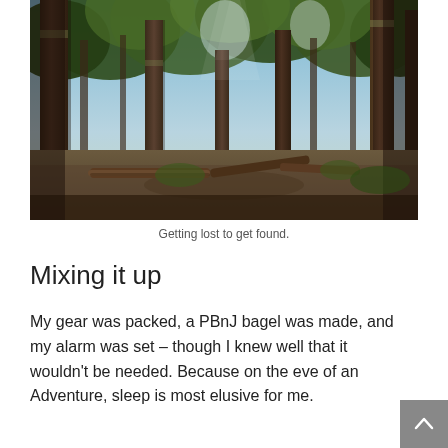[Figure (photo): Upward-angled wide-angle photograph of tall conifer forest with large tree trunks, fallen logs on the ground, dappled sunlight through the canopy, and a dirt trail or clearing in the foreground.]
Getting lost to get found.
Mixing it up
My gear was packed, a PBnJ bagel was made, and my alarm was set – though I knew well that it wouldn't be needed. Because on the eve of an Adventure, sleep is most elusive for me.